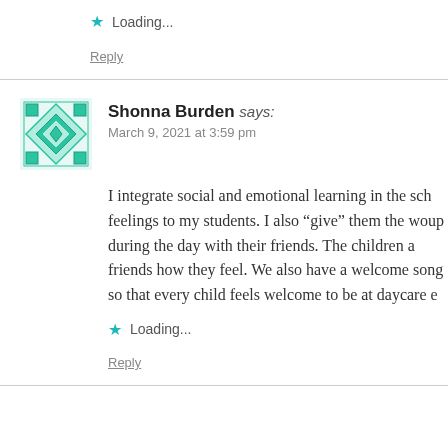Loading...
Reply
Shonna Burden says:
March 9, 2021 at 3:59 pm
I integrate social and emotional learning in the sch... feelings to my students. I also "give" them the wo... up during the day with their friends. The children a... friends how they feel. We also have a welcome song... so that every child feels welcome to be at daycare e...
Loading...
Reply